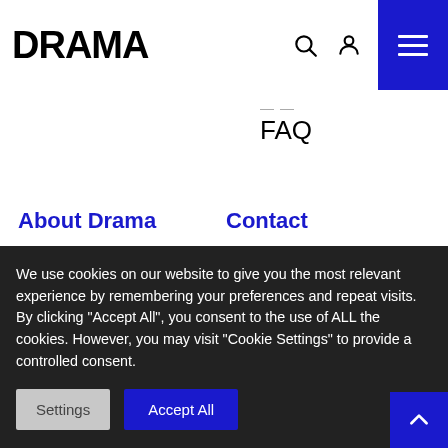DRAMA
FAQ
About Drama
Info card
Letter from the managing director
Contacts
Contact
01 252 14 62
info@drama.si
Slovenian National Theatre
We use cookies on our website to give you the most relevant experience by remembering your preferences and repeat visits. By clicking "Accept All", you consent to the use of ALL the cookies. However, you may visit "Cookie Settings" to provide a controlled consent.